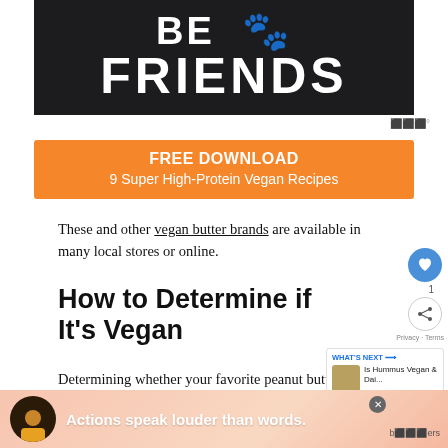[Figure (illustration): Dark background image with large white bold text reading 'BE FRIENDS' in two lines]
[Figure (infographic): Orange banner with FREE DOWNLOAD and subtitle '9 Super High-Protein Vegan Recipes']
These and other vegan butter brands are available in many local stores or online.
How to Determine if It's Vegan
Determining whether your favorite peanut butter is vegan is pretty simple. Just check the
[Figure (infographic): Bottom advertisement bar with person illustration and text 'Actions speak louder than words.']